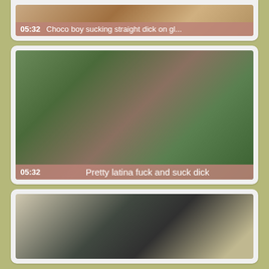[Figure (screenshot): Video thumbnail card (partial, top of page) with duration overlay showing 05:32 and title 'Choco boy sucking straight dick on gl...']
[Figure (screenshot): Video thumbnail card showing outdoor scene with two people under wooden pergola, duration 05:32 and title 'Pretty latina fuck and suck dick']
[Figure (screenshot): Video thumbnail card (partial, bottom of page) showing a person indoors with a lamp visible in background]